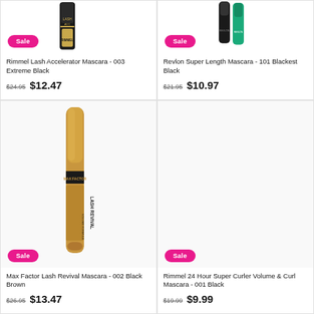[Figure (photo): Rimmel Lash Accelerator Mascara product image with Sale badge]
Rimmel Lash Accelerator Mascara - 003 Extreme Black
$24.95  $12.47
[Figure (photo): Revlon Super Length Mascara product image with Sale badge]
Revlon Super Length Mascara - 101 Blackest Black
$21.95  $10.97
[Figure (photo): Max Factor Lash Revival Mascara product image with Sale badge]
Max Factor Lash Revival Mascara - 002 Black Brown
$26.95  $13.47
[Figure (photo): Rimmel 24 Hour Super Curler Volume & Curl Mascara product image with Sale badge]
Rimmel 24 Hour Super Curler Volume & Curl Mascara - 001 Black
$19.99  $9.99